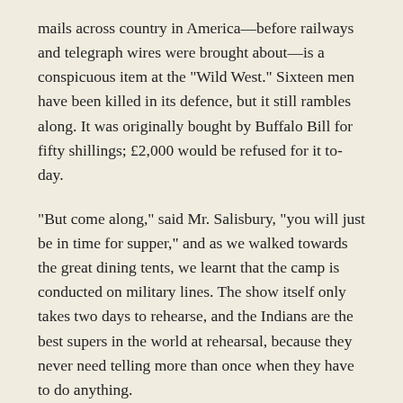mails across country in America—before railways and telegraph wires were brought about—is a conspicuous item at the "Wild West." Sixteen men have been killed in its defence, but it still rambles along. It was originally bought by Buffalo Bill for fifty shillings; £2,000 would be refused for it to-day.
"But come along," said Mr. Salisbury, "you will just be in time for supper," and as we walked towards the great dining tents, we learnt that the camp is conducted on military lines. The show itself only takes two days to rehearse, and the Indians are the best supers in the world at rehearsal, because they never need telling more than once when they have to do anything.
Look in at the kitchen. The great meat pies are made in tins exactly a yard square. Four hundred pounds of meat, 400lb. bread, 25lb. butter, 350 squares of tart as big as your hand are daily wanted. The Indians are very fond of golden syrup—100